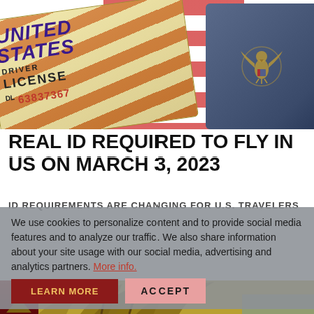[Figure (photo): United States Driver License card overlapping a US flag and a US passport booklet with gold eagle emblem on blue cover]
REAL ID REQUIRED TO FLY IN US ON MARCH 3, 2023
ID REQUIREMENTS ARE CHANGING FOR U.S. TRAVELERS
We use cookies to personalize content and to provide social media features and to analyze our traffic. We also share information about your site usage with our social media, advertising and analytics partners. More info.
[Figure (photo): Bottom strip showing a red flag element with star and triangle, palm fronds and tropical scene]